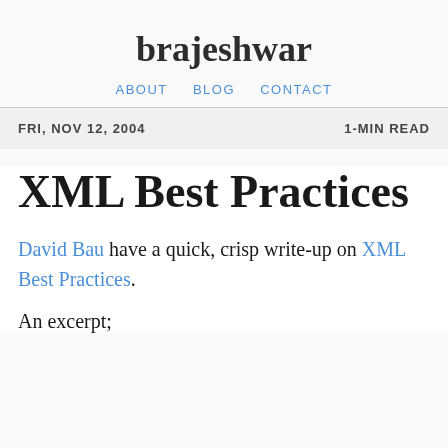brajeshwar
ABOUT   BLOG   CONTACT
FRI, NOV 12, 2004     1-MIN READ
XML Best Practices
David Bau have a quick, crisp write-up on XML Best Practices.
An excerpt;